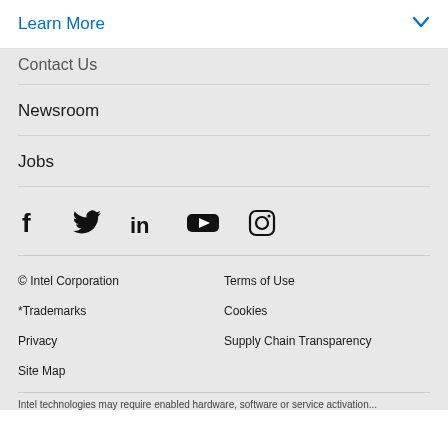Learn More
Contact Us
Newsroom
Jobs
[Figure (infographic): Row of social media icons: Facebook, Twitter, LinkedIn, YouTube, Instagram]
© Intel Corporation   Terms of Use   *Trademarks   Cookies   Privacy   Supply Chain Transparency   Site Map
Intel technologies may require enabled hardware, software or service activation...